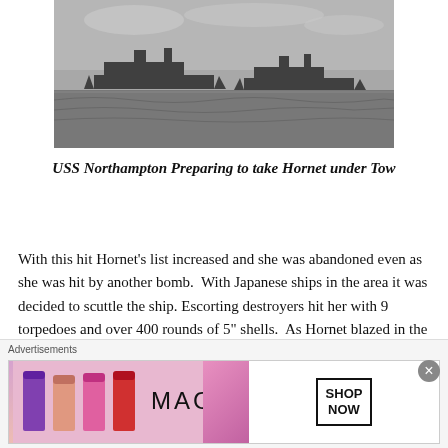[Figure (photo): Black and white photograph of naval warships at sea, showing USS Northampton preparing to take USS Hornet under tow. Ships are visible on the horizon on open water with clouds in the background.]
USS Northampton Preparing to take Hornet under Tow
With this hit Hornet's list increased and she was abandoned even as she was hit by another bomb.  With Japanese ships in the area it was decided to scuttle the ship. Escorting destroyers hit her with 9 torpedoes and over 400 rounds of 5" shells.  As Hornet blazed in the nigh
Advertisements
[Figure (photo): Advertisement banner for MAC cosmetics showing lipsticks and SHOP NOW button]